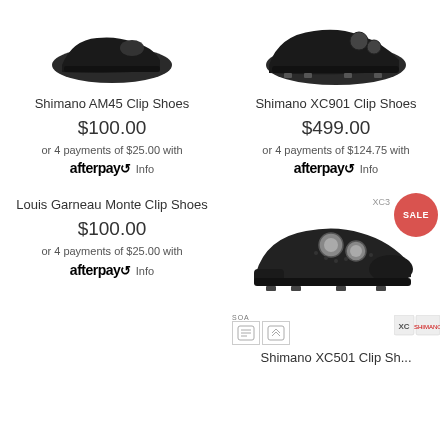[Figure (photo): Shimano AM45 Clip Shoes product photo - black shoe, top cropped]
[Figure (photo): Shimano XC901 Clip Shoes product photo - black shoe, top cropped]
Shimano AM45 Clip Shoes
$100.00
or 4 payments of $25.00 with afterpay Info
Shimano XC901 Clip Shoes
$499.00
or 4 payments of $124.75 with afterpay Info
Louis Garneau Monte Clip Shoes
$100.00
or 4 payments of $25.00 with afterpay Info
[Figure (photo): Shimano XC501 Clip Shoes product photo - black shoe with SALE badge, SOA icons at bottom]
Shimano XC501 Clip Sh...